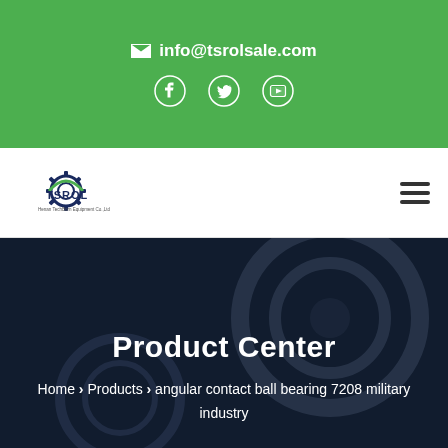info@tsrolsale.com
[Figure (logo): TSROL company logo with gear icon]
Product Center
Home > Products > angular contact ball bearing 7208 military industry